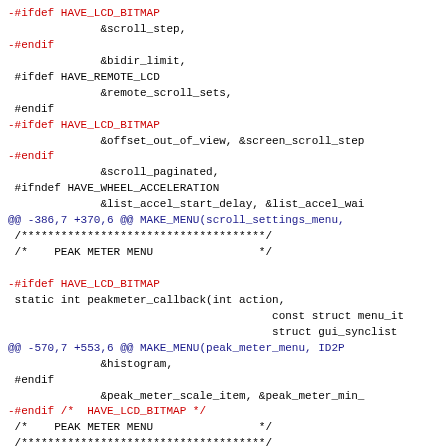Code diff showing changes to scroll settings and peak meter menu in C source file